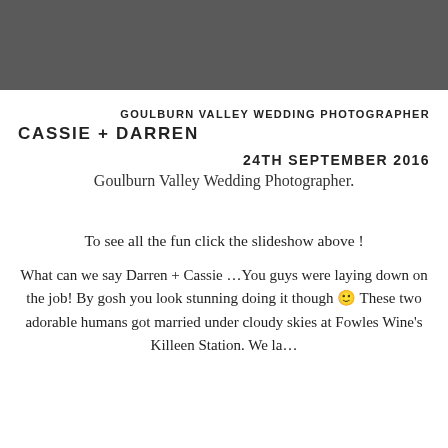[Figure (photo): Dark grey/charcoal header banner bar at the top of the page]
GOULBURN VALLEY WEDDING PHOTOGRAPHER
CASSIE + DARREN
24TH SEPTEMBER 2016
Goulburn Valley Wedding Photographer.
To see all the fun click the slideshow above !
What can we say Darren + Cassie …You guys were laying down on the job! By gosh you look stunning doing it though 🙂 These two adorable humans got married under cloudy skies at Fowles Wine's Killeen Station. We la…